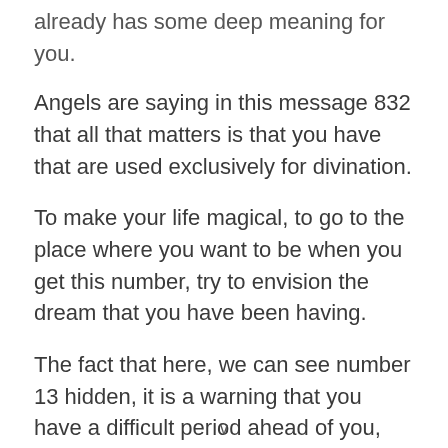already has some deep meaning for you.
Angels are saying in this message 832 that all that matters is that you have that are used exclusively for divination.
To make your life magical, to go to the place where you want to be when you get this number, try to envision the dream that you have been having.
The fact that here, we can see number 13 hidden, it is a warning that you have a difficult period ahead of you, but it has its mission.
v